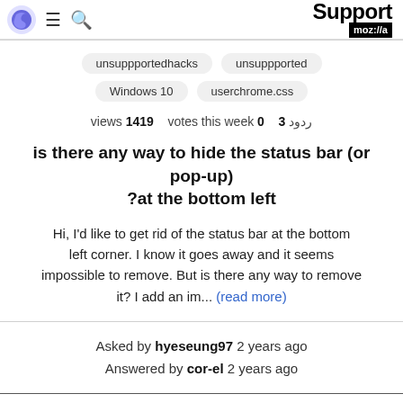Support moz://a
unsuppportedhacks
unsuppported
Windows 10
userchrome.css
views 1419   votes this week 0   ردود 3
is there any way to hide the status bar (or pop-up) at the bottom left?
Hi, I'd like to get rid of the status bar at the bottom left corner. I know it goes away and it seems impossible to remove. But is there any way to remove it? I add an im... (read more)
Asked by hyeseung97 2 years ago
Answered by cor-el 2 years ago